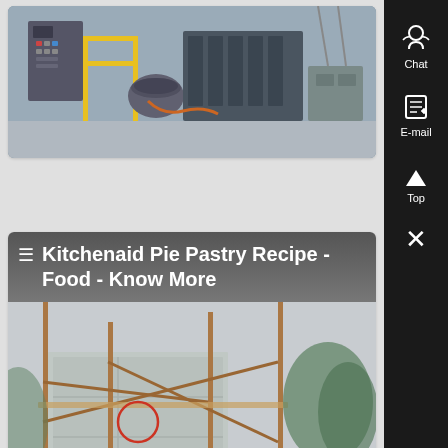[Figure (photo): Industrial machine/equipment in a factory or processing facility, showing yellow railings, dark metal machinery, conveyor components, and concrete flooring.]
[Figure (photo): Construction site outdoors showing scaffolding made of metal/wooden poles, concrete slabs or precast elements, trees visible in the background, and rocky ground.]
≡ Kitchenaid Pie Pastry Recipe - Food - Know More